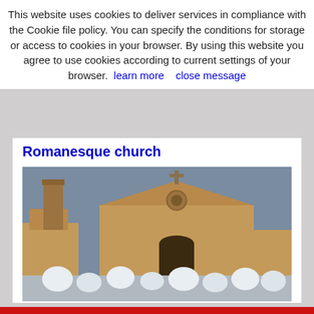This website uses cookies to deliver services in compliance with the Cookie file policy. You can specify the conditions for storage or access to cookies in your browser. By using this website you agree to use cookies according to current settings of your browser. learn more    close message
Romanesque church
[Figure (photo): Photo of a Romanesque church building covered in snow, with snow-covered topiary bushes in the foreground, stone architecture with arched doorway and rose window]
Barberino Val d’Elsa: a medieval village in Chianti
[Figure (photo): Partial photo of another building, cut off at bottom of page]